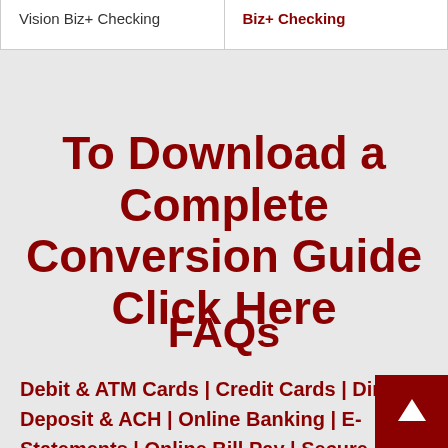| Vision Biz+ Checking | Biz+ Checking |
To Download a Complete Conversion Guide Click Here
FAQs
Debit & ATM Cards | Credit Cards | Direct Deposit & ACH | Online Banking | E-Statements | Online Bill Pay | Secure Alerts | Mobile Deposit | Checking | Money Market | Savings, CDs & IRAs | Deposit